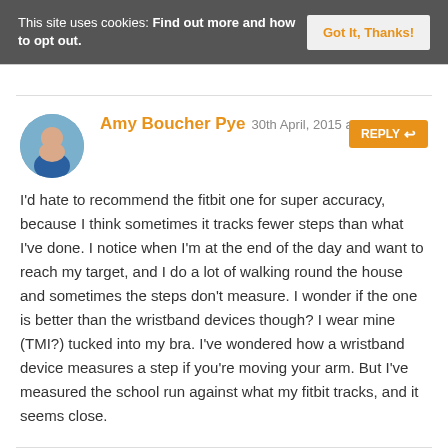This site uses cookies: Find out more and how to opt out. Got It, Thanks!
Amy Boucher Pye 30th April, 2015 REPLY I'd hate to recommend the fitbit one for super accuracy, because I think sometimes it tracks fewer steps than what I've done. I notice when I'm at the end of the day and want to reach my target, and I do a lot of walking round the house and sometimes the steps don't measure. I wonder if the one is better than the wristband devices though? I wear mine (TMI?) tucked into my bra. I've wondered how a wristband device measures a step if you're moving your arm. But I've measured the school run against what my fitbit tracks, and it seems close.